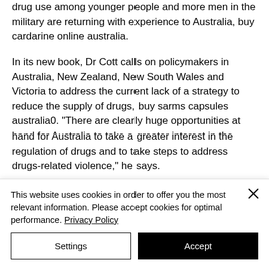drug use among younger people and more men in the military are returning with experience to Australia, buy cardarine online australia.
In its new book, Dr Cott calls on policymakers in Australia, New Zealand, New South Wales and Victoria to address the current lack of a strategy to reduce the supply of drugs, buy sarms capsules australia0. "There are clearly huge opportunities at hand for Australia to take a greater interest in the regulation of drugs and to take steps to address drugs-related violence," he says.
This website uses cookies in order to offer you the most relevant information. Please accept cookies for optimal performance. Privacy Policy